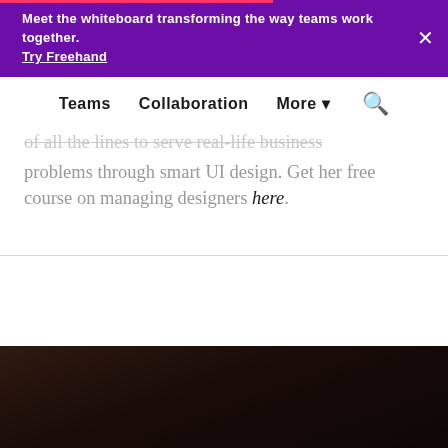Meet the whiteboard transforming the way teams work together. Try Freehand
Teams   Collaboration   More ▾   🔍
...of all the lines to serve real-life business problems through smart UI design. Get her free course on managing designers here.
[Figure (photo): Dark background photo visible at the bottom of the page, showing a dimly lit scene.]